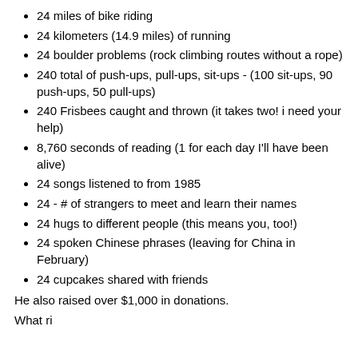24 miles of bike riding
24 kilometers (14.9 miles) of running
24 boulder problems (rock climbing routes without a rope)
240 total of push-ups, pull-ups, sit-ups - (100 sit-ups, 90 push-ups, 50 pull-ups)
240 Frisbees caught and thrown (it takes two! i need your help)
8,760 seconds of reading (1 for each day I'll have been alive)
24 songs listened to from 1985
24 - # of strangers to meet and learn their names
24 hugs to different people (this means you, too!)
24 spoken Chinese phrases (leaving for China in February)
24 cupcakes shared with friends
He also raised over $1,000 in donations.
What ri...